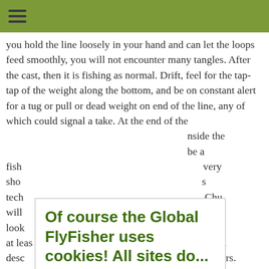☰ (hamburger menu icon)
you hold the line loosely in your hand and can let the loops feed smoothly, you will not encounter many tangles. After the cast, then it is fishing as normal. Drift, feel for the tap-tap of the weight along the bottom, and be on constant alert for a tug or pull or dead weight on end of the line, any of which could signal a take. At the end of the [obscured] nside the [obscured] be a fish[obscured] very sho[obscured] s tech[obscured] Chu[obscured] rs will look[obscured] wor[obscured] r, at leas[obscured] gal desc[obscured] waters. Mor[obscured] tech[obscured] yourself
Of course the Global FlyFisher uses cookies! All sites do...
Authorities require us to have you confirm this by clicking any link on this page. You are then giving your consent for us to set cookies. No cookies, no GFF!
More about privacy and cookies
OK, I agree